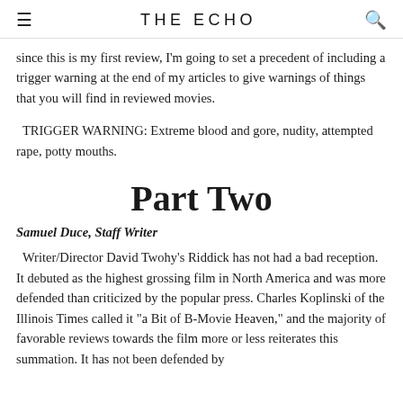THE ECHO
since this is my first review, I'm going to set a precedent of including a trigger warning at the end of my articles to give warnings of things that you will find in reviewed movies.
TRIGGER WARNING: Extreme blood and gore, nudity, attempted rape, potty mouths.
Part Two
Samuel Duce, Staff Writer
Writer/Director David Twohy's Riddick has not had a bad reception. It debuted as the highest grossing film in North America and was more defended than criticized by the popular press. Charles Koplinski of the Illinois Times called it "a Bit of B-Movie Heaven," and the majority of favorable reviews towards the film more or less reiterates this summation. It has not been defended by